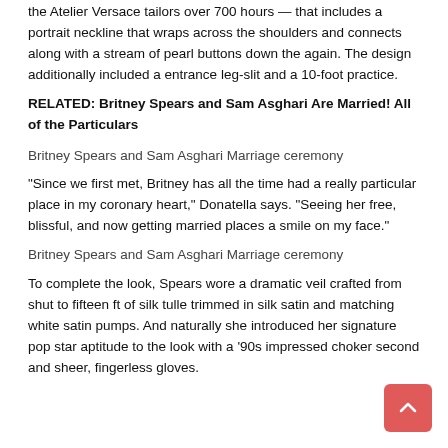the Atelier Versace tailors over 700 hours — that includes a portrait neckline that wraps across the shoulders and connects along with a stream of pearl buttons down the again. The design additionally included a entrance leg-slit and a 10-foot practice.
RELATED: Britney Spears and Sam Asghari Are Married! All of the Particulars
Britney Spears and Sam Asghari Marriage ceremony
“Since we first met, Britney has all the time had a really particular place in my coronary heart,” Donatella says. “Seeing her free, blissful, and now getting married places a smile on my face.”
Britney Spears and Sam Asghari Marriage ceremony
To complete the look, Spears wore a dramatic veil crafted from shut to fifteen ft of silk tulle trimmed in silk satin and matching white satin pumps. And naturally she introduced her signature pop star aptitude to the look with a ‘90s impressed choker second and sheer, fingerless gloves.